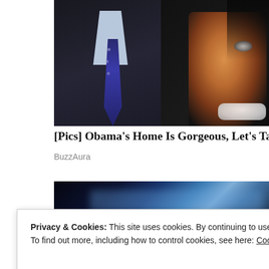[Figure (photo): Close-up photo of two people, a man in a dark suit with blue tie and light collar visible, and a woman smiling on the right side with bright teeth, dark hair.]
[Pics] Obama's Home Is Gorgeous, Let's Take A Look
BuzzAura
[Figure (photo): Dark blue-tinted blurred background image, appears to be a stage or event setting with blue lighting.]
Privacy & Cookies: This site uses cookies. By continuing to use this website, you agree to their use.
To find out more, including how to control cookies, see here: Cookie Policy
Close and accept